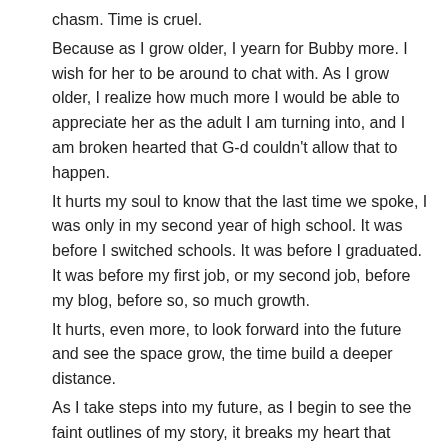chasm. Time is cruel.
Because as I grow older, I yearn for Bubby more. I wish for her to be around to chat with. As I grow older, I realize how much more I would be able to appreciate her as the adult I am turning into, and I am broken hearted that G-d couldn't allow that to happen.
It hurts my soul to know that the last time we spoke, I was only in my second year of high school. It was before I switched schools. It was before I graduated. It was before my first job, or my second job, before my blog, before so, so much growth.
It hurts, even more, to look forward into the future and see the space grow, the time build a deeper distance.
As I take steps into my future, as I begin to see the faint outlines of my story, it breaks my heart that Bubby is not a main character.
I know, it is blasphemous to say these things. I know that I should be a voice of bravery and hope. A conviction to the belief that we will be reunited very soon because the alternative is unthinkable.
But it's hard.
It's hard to be in the unthinkable and to be able to imagine a world where the pain is a bygone memory.